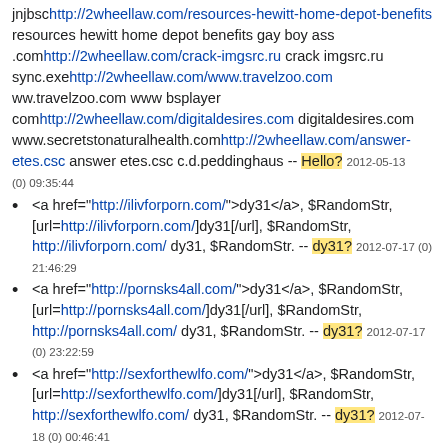jnjbsc http://2wheellaw.com/resources-hewitt-home-depot-benefits resources hewitt home depot benefits gay boy ass .com http://2wheellaw.com/crack-imgsrc.ru crack imgsrc.ru sync.exe http://2wheellaw.com/www.travelzoo.com ww.travelzoo.com www bsplayer com http://2wheellaw.com/digitaldesires.com digitaldesires.com www.secretstonaturalhealth.com http://2wheellaw.com/answer-etes.csc answer etes.csc c.d.peddinghaus -- Hello? 2012-05-13 (0) 09:35:44
<a href="http://ilivforporn.com/">dy31</a>, $RandomStr, [url=http://ilivforporn.com/]dy31[/url], $RandomStr, http://ilivforporn.com/ dy31, $RandomStr. -- dy31? 2012-07-17 (0) 21:46:29
<a href="http://pornsks4all.com/">dy31</a>, $RandomStr, [url=http://pornsks4all.com/]dy31[/url], $RandomStr, http://pornsks4all.com/ dy31, $RandomStr. -- dy31? 2012-07-17 (0) 23:22:59
<a href="http://sexforthewlfo.com/">dy31</a>, $RandomStr, [url=http://sexforthewlfo.com/]dy31[/url], $RandomStr, http://sexforthewlfo.com/ dy31, $RandomStr. -- dy31? 2012-07-18 (0) 00:46:41
cyghudy31, <a